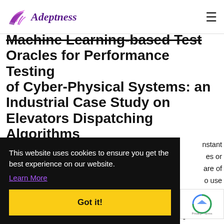Adeptness
Machine Learning-based Test Oracles for Performance Testing of Cyber-Physical Systems: an Industrial Case Study on Elevators Dispatching Algorithms
nstant es or are of o use n the ersion.
This website uses cookies to ensure you get the best experience on our website. Learn More
Got it!
issues, we propose DARIO, a test oracle that relies on regression